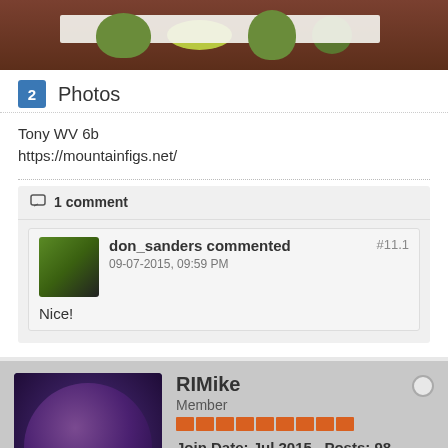[Figure (photo): Photo of green figs on a wooden table with a paper strip]
2  Photos
Tony WV 6b
https://mountainfigs.net/
1 comment
don_sanders commented  #11.1
09-07-2015, 09:59 PM
Nice!
RIMike
Member
Join Date: Jul 2015   Posts: 98
09-09-2015, 03:41 PM  #12
I have to admit I'm the odd man out here. This tree is now 3